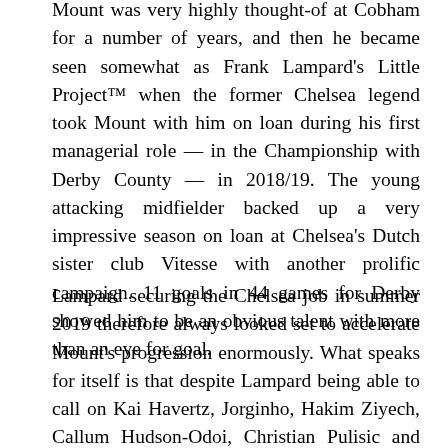Mount was very highly thought-of at Cobham for a number of years, and then he became seen somewhat as Frank Lampard's Little Project™ when the former Chelsea legend took Mount with him on loan during his first managerial role — in the Championship with Derby County — in 2018/19. The young attacking midfielder backed up a very impressive season on loan at Chelsea's Dutch sister club Vitesse with another prolific campaign. 11 goals in 44 games for Derby showed him to be an obvious talent with more than an eye for goal.
Lampard securing the Chelsea job in summer 2019 therefore always looked set to accelerate Mount's progression enormously. What speaks for itself is that despite Lampard being able to call on Kai Havertz, Jorginho, Hakim Ziyech, Callum Hudson-Odoi, Christian Pulisic and Mateo Kovačić to play in